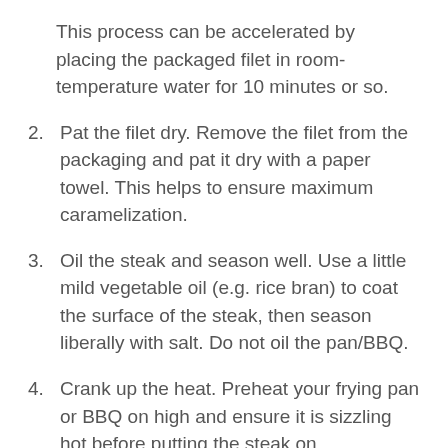This process can be accelerated by placing the packaged filet in room-temperature water for 10 minutes or so.
2. Pat the filet dry. Remove the filet from the packaging and pat it dry with a paper towel. This helps to ensure maximum caramelization.
3. Oil the steak and season well. Use a little mild vegetable oil (e.g. rice bran) to coat the surface of the steak, then season liberally with salt. Do not oil the pan/BBQ.
4. Crank up the heat. Preheat your frying pan or BBQ on high and ensure it is sizzling hot before putting the steak on.
5. Ensure maximum surface contact. Check that the steak is flat against the surface of the pan/BBQ